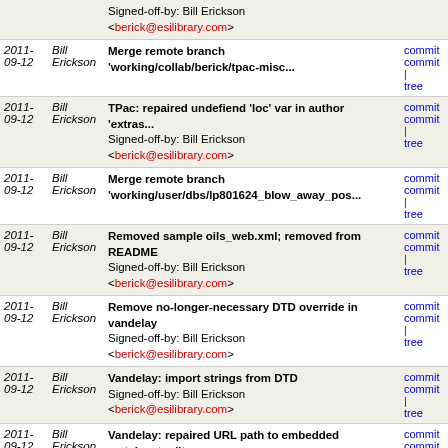| Date | Author | Message | Links |
| --- | --- | --- | --- |
|  |  | Signed-off-by: Bill Erickson <berick@esilibrary.com> |  |
| 2011-09-12 | Bill Erickson | Merge remote branch 'working/collab/berick/tpac-misc... | commit | commit | tree |
| 2011-09-12 | Bill Erickson | TPac: repaired undefiend 'loc' var in author 'extras...
Signed-off-by: Bill Erickson <berick@esilibrary.com> | commit | commit | tree |
| 2011-09-12 | Bill Erickson | Merge remote branch 'working/user/dbs/lp801624_blow_away_pos... | commit | commit | tree |
| 2011-09-12 | Bill Erickson | Removed sample oils_web.xml; removed from README
Signed-off-by: Bill Erickson <berick@esilibrary.com> | commit | commit | tree |
| 2011-09-12 | Bill Erickson | Remove no-longer-necessary DTD override in vandelay
Signed-off-by: Bill Erickson <berick@esilibrary.com> | commit | commit | tree |
| 2011-09-12 | Bill Erickson | Vandelay: import strings from DTD
Signed-off-by: Bill Erickson <berick@esilibrary.com> | commit | commit | tree |
| 2011-09-12 | Bill Erickson | Vandelay: repaired URL path to embedded match set editor
Signed-off-by: Bill Erickson <berick@esilibrary.com> | commit | commit | tree |
| 2011-09-12 | Bill Erickson | TPac: template path cleanup
Signed-off-by: Bill Erickson <berick@esilibrary.com> | commit | commit | tree |